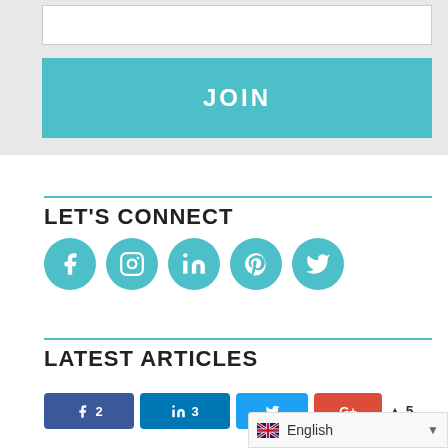[Figure (screenshot): JOIN button on a light gray background with a white input field above it]
LET'S CONNECT
[Figure (infographic): Row of 5 teal circular social media icons: Facebook, Instagram, LinkedIn, Pinterest, Twitter]
LATEST ARTICLES
[Figure (screenshot): Share buttons: Facebook (2), LinkedIn (3), Twitter, Google+, +5]
English